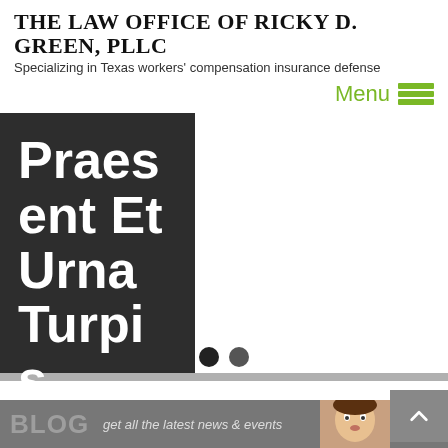THE LAW OFFICE OF RICKY D. GREEN, PLLC
Specializing in Texas workers' compensation insurance defense
[Figure (screenshot): Navigation menu button with green 'Menu' text and green hamburger icon on right side of header]
[Figure (screenshot): Hero slider image with dark left panel showing large white text 'Praes ent Et Urna Turpi s' and right panel showing a tablet device on grey background with navigation dots at bottom]
[Figure (screenshot): Blog bar at bottom with 'BLOG get all the latest news & events' text and a surprised woman photo on right, plus a grey back-to-top arrow button]